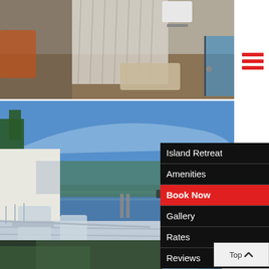[Figure (photo): Interior bathroom photo showing a shower curtain, bath mat, and towels on a rack, with dark wood flooring]
[Figure (photo): Outdoor lakeside deck photo with Adirondack chairs, dock, and open water under a blue sky]
Island Retreat
Amenities
Book Now
Gallery
Rates
Reviews
[Figure (photo): Partial third photo visible at bottom of page]
Top^